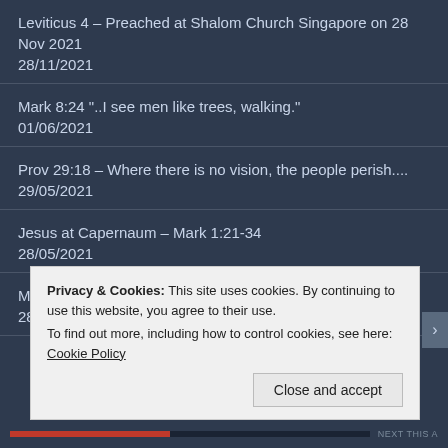Leviticus 4 – Preached at Shalom Church Singapore on 28 Nov 2021
28/11/2021
Mark 8:24 "..I see men like trees, walking."
01/06/2021
Prov 29:18 – Where there is no vision, the people perish....
29/05/2021
Jesus at Capernaum – Mark 1:21-34
28/05/2021
Mark 4:34 – He explained all things to His disciples...
28/05/2021
Leviticus 3 – Jesus, Our Peace (Preached at Shalom Church on 28 Mar 2021)
Privacy & Cookies: This site uses cookies. By continuing to use this website, you agree to their use.
To find out more, including how to control cookies, see here: Cookie Policy